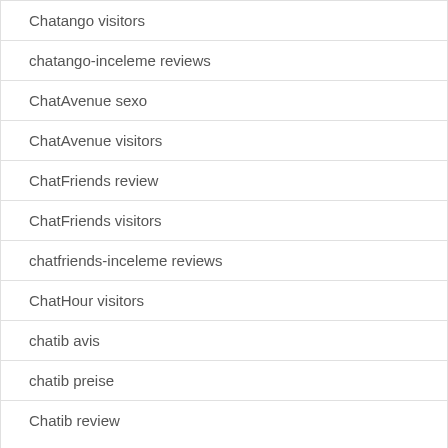Chatango visitors
chatango-inceleme reviews
ChatAvenue sexo
ChatAvenue visitors
ChatFriends review
ChatFriends visitors
chatfriends-inceleme reviews
ChatHour visitors
chatib avis
chatib preise
Chatib review